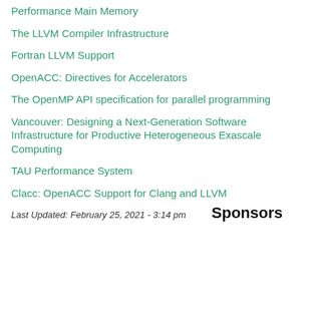Performance Main Memory
The LLVM Compiler Infrastructure
Fortran LLVM Support
OpenACC: Directives for Accelerators
The OpenMP API specification for parallel programming
Vancouver: Designing a Next-Generation Software Infrastructure for Productive Heterogeneous Exascale Computing
TAU Performance System
Clacc: OpenACC Support for Clang and LLVM
Last Updated: February 25, 2021 - 3:14 pm
Sponsors